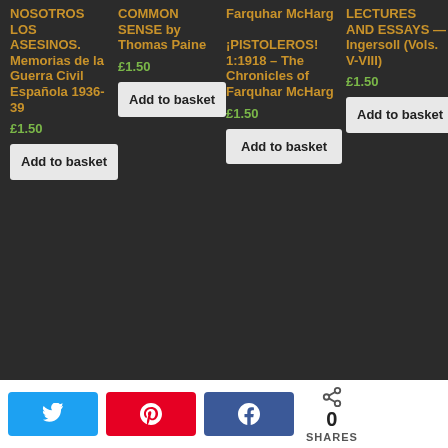NOSOTROS LOS ASESINOS. Memorias de la Guerra Civil Española 1936-39
£1.50
COMMON SENSE by Thomas Paine
£1.50
Farquhar McHarg ¡PISTOLEROS! 1:1918 – The Chronicles of Farquhar McHarg
£1.50
LECTURES AND ESSAYS — Ingersoll (Vols. V-VIII)
£1.50